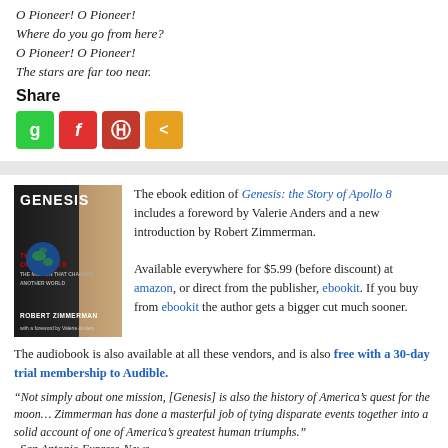O Pioneer! O Pioneer!
Where do you go from here?
O Pioneer! O Pioneer!
The stars are far too near.
Share
[Figure (other): Four social sharing buttons: green g, red f, dark-red P, orange share icon]
The ebook edition of Genesis: the Story of Apollo 8 includes a foreword by Valerie Anders and a new introduction by Robert Zimmerman.

Available everywhere for $5.99 (before discount) at amazon, or direct from the publisher, ebookit. If you buy from ebookit the author gets a bigger cut much sooner.

The audiobook is also available at all these vendors, and is also free with a 30-day trial membership to Audible.
[Figure (photo): Book cover of Genesis: The Story of Apollo 8 by Robert Zimmerman]
“Not simply about one mission, [Genesis] is also the history of America’s quest for the moon… Zimmerman has done a masterful job of tying disparate events together into a solid account of one of America’s greatest human triumphs.”
–San Antonio Express-News
Share
[Figure (other): Four social sharing buttons: green g, red f, dark-red P, orange share icon]